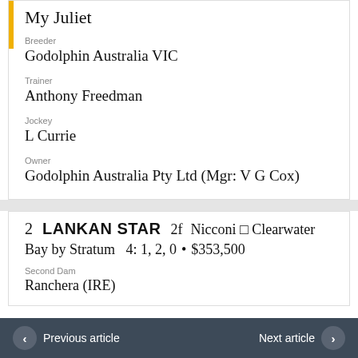My Juliet
Breeder
Godolphin Australia VIC
Trainer
Anthony Freedman
Jockey
L Currie
Owner
Godolphin Australia Pty Ltd (Mgr: V G Cox)
2  LANKAN STAR  2f  Nicconi □ Clearwater
Bay by Stratum  4: 1, 2, 0  •  $353,500
Second Dam
Ranchera (IRE)
< Previous article   Next article >